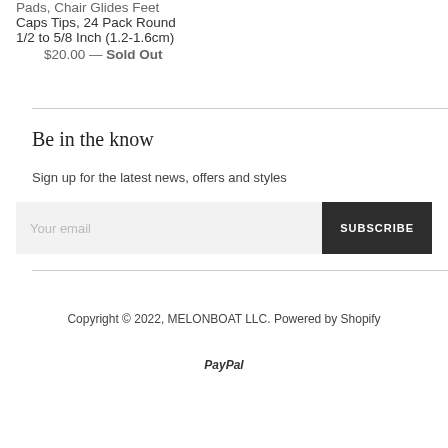Pads, Chair Glides Feet Caps Tips, 24 Pack Round 1/2 to 5/8 Inch (1.2-1.6cm)
$20.00 — Sold Out
Be in the know
Sign up for the latest news, offers and styles
Your email
SUBSCRIBE
Copyright © 2022, MELONBOAT LLC. Powered by Shopify
PayPal